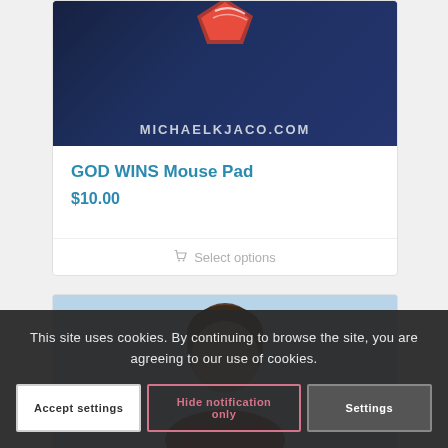[Figure (photo): Mouse pad product with dark blue background showing the text MICHAELKJACO.COM and a red logo/graphic at the top]
GOD WINS Mouse Pad
$10.00
Select options
[Figure (photo): Partial view of a person's head/upper body against a light blue background (bottom of page, partially visible)]
This site uses cookies. By continuing to browse the site, you are agreeing to our use of cookies.
Accept settings
Hide notification only
Settings